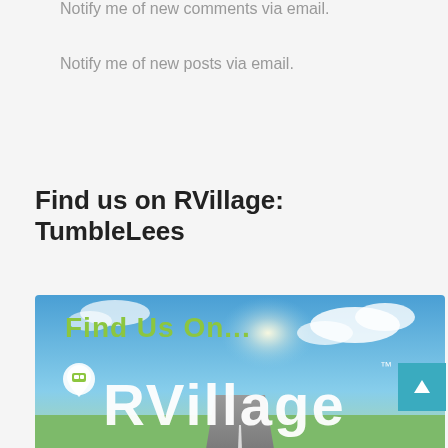Notify me of new comments via email.
Notify me of new posts via email.
Find us on RVillage:
TumbleLees
[Figure (photo): RVillage promotional banner image with 'Find Us On...' in green text and 'RVillage' in white script text over a scenic road/sky background with RV map pin icon and TM mark.]